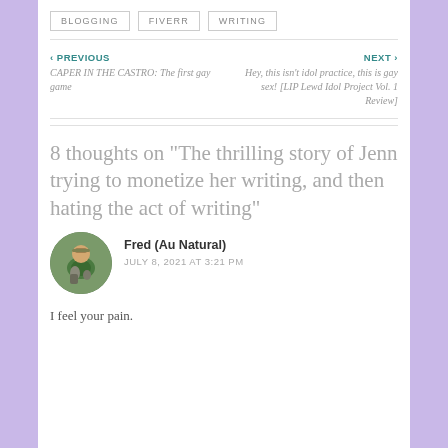BLOGGING
FIVERR
WRITING
‹ PREVIOUS
CAPER IN THE CASTRO: The first gay game
NEXT ›
Hey, this isn't idol practice, this is gay sex! [LIP Lewd Idol Project Vol. 1 Review]
8 thoughts on "The thrilling story of Jenn trying to monetize her writing, and then hating the act of writing"
Fred (Au Natural)
JULY 8, 2021 AT 3:21 PM
I feel your pain.